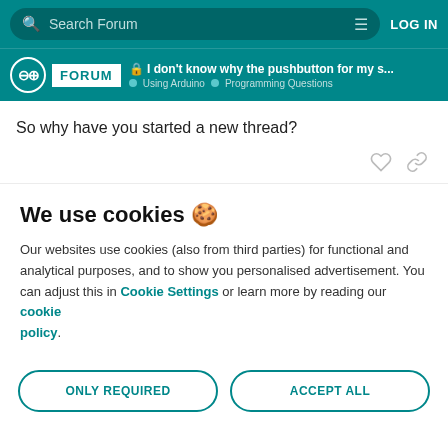Search Forum | LOG IN
I don't know why the pushbutton for my s... | Using Arduino | Programming Questions
So why have you started a new thread?
We use cookies 🍪
Our websites use cookies (also from third parties) for functional and analytical purposes, and to show you personalised advertisement. You can adjust this in Cookie Settings or learn more by reading our cookie policy.
ONLY REQUIRED | ACCEPT ALL